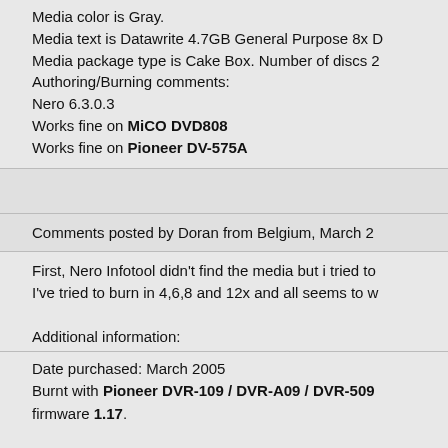Media color is Gray.
Media text is Datawrite 4.7GB General Purpose 8x D
Media package type is Cake Box. Number of discs 2
Authoring/Burning comments:
Nero 6.3.0.3
Works fine on MiCO DVD808
Works fine on Pioneer DV-575A
Comments posted by Doran from Belgium, March 2
First, Nero Infotool didn't find the media but i tried to
I've tried to burn in 4,6,8 and 12x and all seems to w
Additional information:
Date purchased: March 2005
Burnt with Pioneer DVR-109 / DVR-A09 / DVR-509
firmware 1.17.